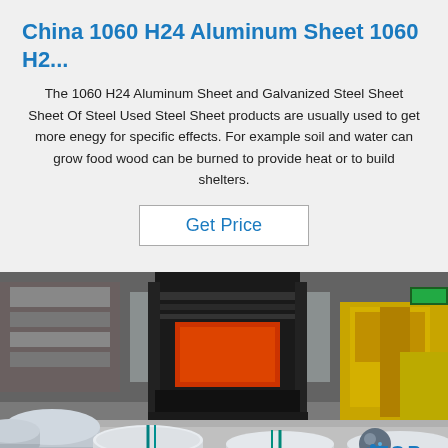China 1060 H24 Aluminum Sheet 1060 H2...
The 1060 H24 Aluminum Sheet and Galvanized Steel Sheet Sheet Of Steel Used Steel Sheet products are usually used to get more enegy for specific effects. For example soil and water can grow food wood can be burned to provide heat or to build shelters.
Get Price
[Figure (photo): Industrial factory interior showing a large forklift or industrial press machine in the center background, with aluminum coil rolls in the foreground on the floor. The rolls are silver/metallic with teal/green strapping. Yellow industrial equipment visible on the right. Steel coils on the left. A 'TOP' watermark logo with blue dots appears in the lower right corner.]